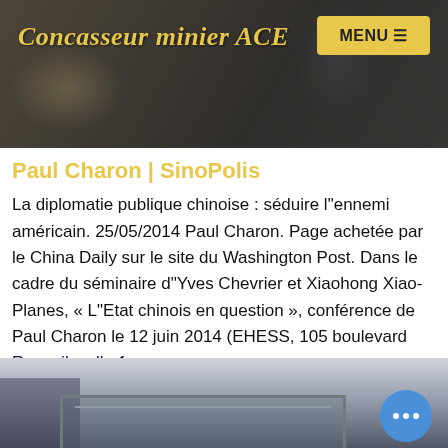Concasseur minier ACE
[Figure (photo): Background photo showing construction/mining site equipment, dark overlay]
Paul Charon | SinoPolis
La diplomatie publique chinoise : séduire l"ennemi américain. 25/05/2014 Paul Charon. Page achetée par le China Daily sur le site du Washington Post. Dans le cadre du séminaire d"Yves Chevrier et Xiaohong Xiao-Planes, « L"Etat chinois en question », conférence de Paul Charon le 12 juin 2014 (EHESS, 105 boulevard Raspail, salle 1 ...
Nous contacter
[Figure (photo): Photo of industrial/mining structure with steel framework against a sky background, chat bubble icon in bottom right corner]